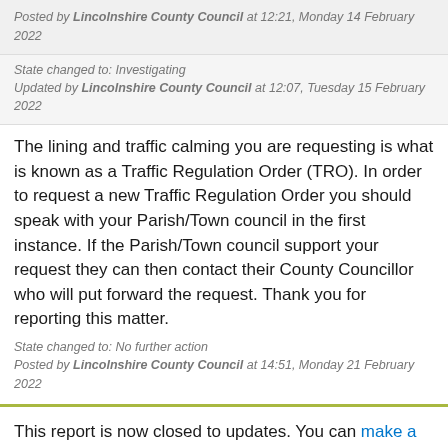Posted by Lincolnshire County Council at 12:21, Monday 14 February 2022
State changed to: Investigating
Updated by Lincolnshire County Council at 12:07, Tuesday 15 February 2022
The lining and traffic calming you are requesting is what is known as a Traffic Regulation Order (TRO). In order to request a new Traffic Regulation Order you should speak with your Parish/Town council in the first instance. If the Parish/Town council support your request they can then contact their County Councillor who will put forward the request. Thank you for reporting this matter.
State changed to: No further action
Posted by Lincolnshire County Council at 14:51, Monday 21 February 2022
This report is now closed to updates. You can make a new report in the same location.